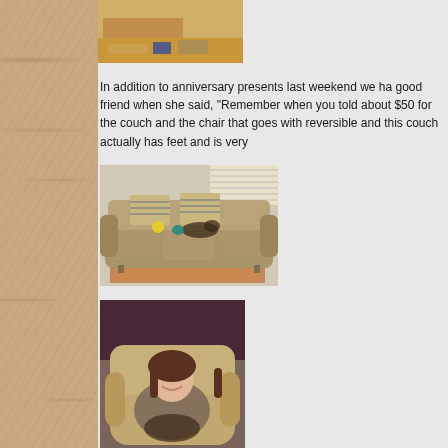[Figure (photo): Photo of a room with a desk and items on the floor, hardwood flooring visible]
In addition to anniversary presents last weekend we ha... good friend when she said, "Remember when you told... about $50 for the couch and the chair that goes with... reversible and this couch actually has feet and is very ...
[Figure (photo): Photo of a light tan/beige sofa with chevron patterned pillows and a small pet lying on it, an orange rug on the floor]
[Figure (photo): Photo of a woman sitting in a large tan armchair, smiling, holding a small pet]